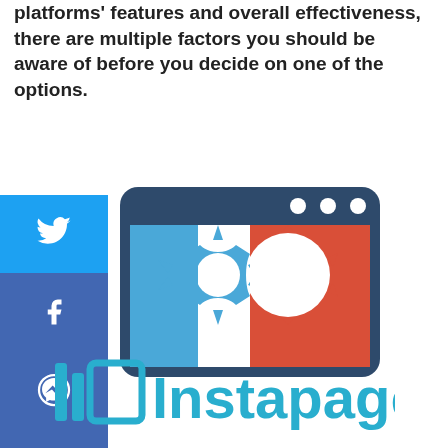platforms' features and overall effectiveness, there are multiple factors you should be aware of before you decide on one of the options.
[Figure (illustration): Social media share buttons bar on the left (Twitter, Facebook, Messenger, LinkedIn) and a gear/integration icon in a browser window frame in the center]
[Figure (logo): Instapage logo with icon and wordmark in teal/blue color]